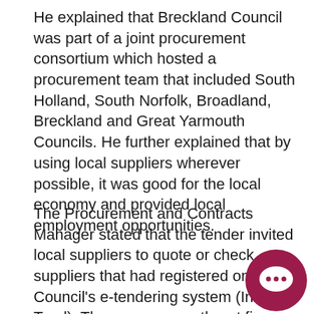He explained that Breckland Council was part of a joint procurement consortium which hosted a procurement team that included South Holland, South Norfolk, Broadland, Breckland and Great Yarmouth Councils. He further explained that by using local suppliers wherever possible, it was good for the local economy and provided local employment opportunities.
The Procurement and Contracts Manager stated that the tender invited local suppliers to quote or check suppliers that had registered on the Council's e-tendering system (In-Tend). There was currently set figure for local spend as it had yet defined what local meant and there was no